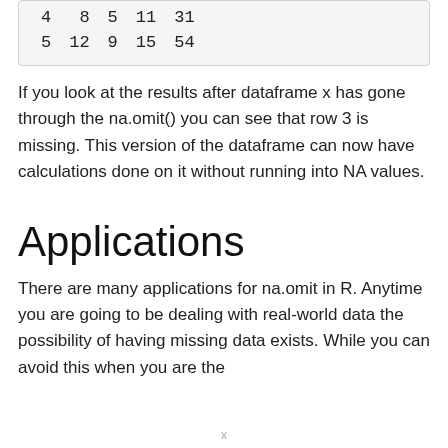| 4 | 8 | 5 | 11 | 31 |
| 5 | 12 | 9 | 15 | 54 |
If you look at the results after dataframe x has gone through the na.omit() you can see that row 3 is missing. This version of the dataframe can now have calculations done on it without running into NA values.
Applications
There are many applications for na.omit in R. Anytime you are going to be dealing with real-world data the possibility of having missing data exists. While you can avoid this when you are the
x